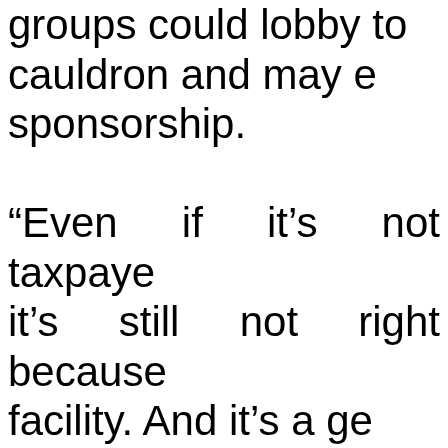groups could lobby to cauldron and may e sponsorship. “Even if it’s not taxpaye it’s still not right because facility. And it’s a ge signifies our go commitment.” Sung says if athletes a